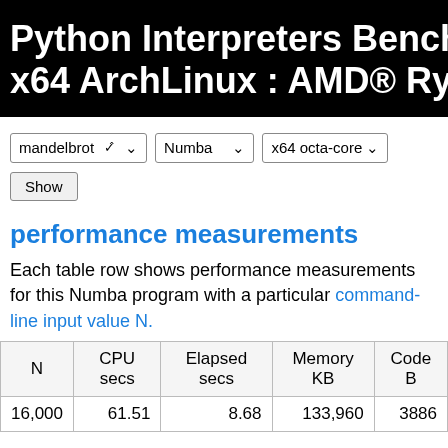Python Interpreters Bench x64 ArchLinux : AMD® Ry
[Figure (screenshot): Three dropdown menus showing 'mandelbrot', 'Numba', 'x64 octa-core' and a 'Show' button]
performance measurements
Each table row shows performance measurements for this Numba program with a particular command-line input value N.
| N | CPU secs | Elapsed secs | Memory KB | Code B |
| --- | --- | --- | --- | --- |
| 16,000 | 61.51 | 8.68 | 133,960 | 3886 |